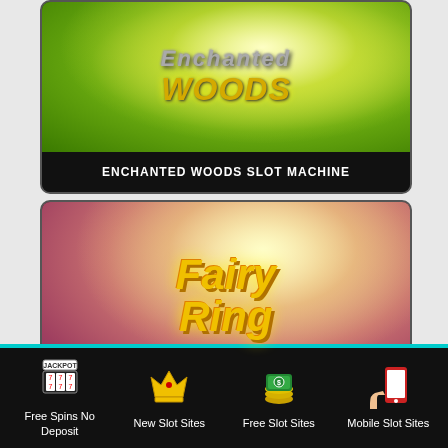[Figure (screenshot): Enchanted Woods slot machine game card with green radial burst background and stylized logo text, dark label bar at bottom reading ENCHANTED WOODS SLOT MACHINE]
ENCHANTED WOODS SLOT MACHINE
[Figure (screenshot): Fairy Ring slot machine game card with pink/red gradient background, radial light burst, and gold stylized Fairy Ring logo text]
[Figure (infographic): Bottom navigation bar with four icons and labels: Free Spins No Deposit (slot machine icon), New Slot Sites (crown icon), Free Slot Sites (money stack icon), Mobile Slot Sites (mobile phone icon)]
Free Spins No Deposit
New Slot Sites
Free Slot Sites
Mobile Slot Sites